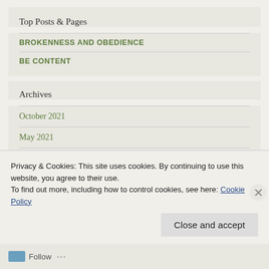Top Posts & Pages
BROKENNESS AND OBEDIENCE
BE CONTENT
Archives
October 2021
May 2021
May 2019
March 2019
Privacy & Cookies: This site uses cookies. By continuing to use this website, you agree to their use.
To find out more, including how to control cookies, see here: Cookie Policy
Close and accept
Follow